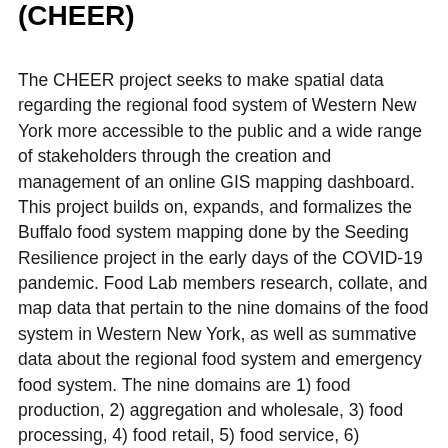(CHEER)
The CHEER project seeks to make spatial data regarding the regional food system of Western New York more accessible to the public and a wide range of stakeholders through the creation and management of an online GIS mapping dashboard. This project builds on, expands, and formalizes the Buffalo food system mapping done by the Seeding Resilience project in the early days of the COVID-19 pandemic. Food Lab members research, collate, and map data that pertain to the nine domains of the food system in Western New York, as well as summative data about the regional food system and emergency food system. The nine domains are 1) food production, 2) aggregation and wholesale, 3) food processing, 4) food retail, 5) food service, 6) institutional food procurement, 7) transportation and logistics, 8) management of wasted food and food loss, and 9) acquisition, preparation, & eating.